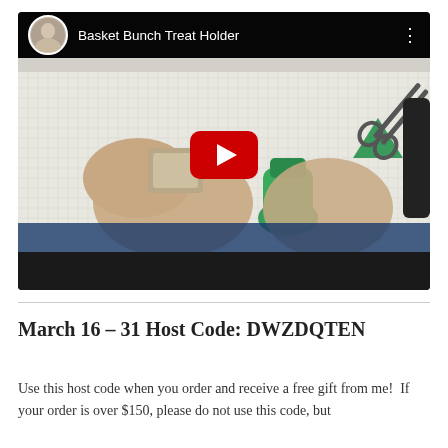[Figure (screenshot): YouTube video thumbnail showing 'Basket Bunch Treat Holder' with hands holding craft supplies, scissors visible on cutting mat, with YouTube play button overlay. Video player UI with channel avatar and title in top bar.]
March 16 – 31 Host Code: DWZDQTEN
Use this host code when you order and receive a free gift from me!  If your order is over $150, please do not use this code, but